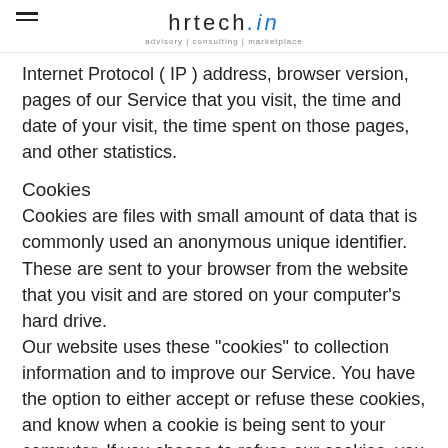hrtech.in | advisory | consulting | marketplace
Internet Protocol ( IP ) address, browser version, pages of our Service that you visit, the time and date of your visit, the time spent on those pages, and other statistics.
Cookies
Cookies are files with small amount of data that is commonly used an anonymous unique identifier. These are sent to your browser from the website that you visit and are stored on your computer's hard drive.
Our website uses these "cookies" to collection information and to improve our Service. You have the option to either accept or refuse these cookies, and know when a cookie is being sent to your computer. If you choose to refuse our cookies, you may not be